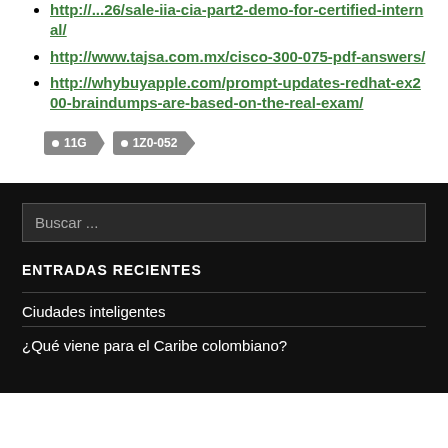http://...26/sale-iia-cia-part2-demo-for-certified-internal/
http://www.tajsa.com.mx/cisco-300-075-pdf-answers/
http://whybuyapple.com/prompt-updates-redhat-ex200-braindumps-are-based-on-the-real-exam/
11G  1Z0-052
Buscar ...
ENTRADAS RECIENTES
Ciudades inteligentes
¿Qué viene para el Caribe colombiano?